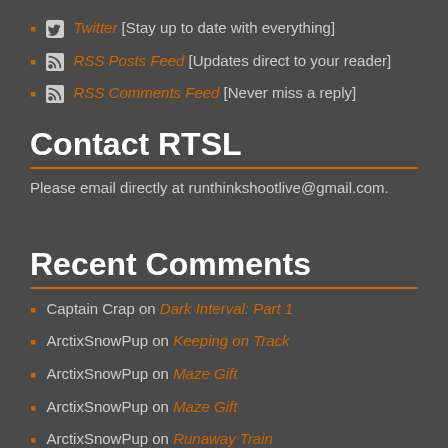Twitter [Stay up to date with everything]
RSS Posts Feed [Updates direct to your reader]
RSS Comments Feed [Never miss a reply]
Contact RTSL
Please email directly at runthinkshootlive@gmail.com.
Recent Comments
Captain Crap on Dark Interval: Part 1
ArctixSnowPup on Keeping on Track
ArctixSnowPup on Maze Gift
ArctixSnowPup on Maze Gift
ArctixSnowPup on Runaway Train
ArctixSnowPup on One House 2